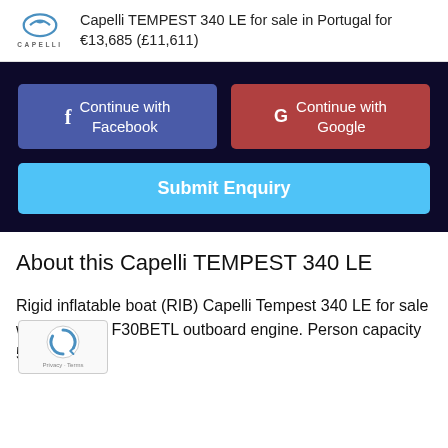Capelli TEMPEST 340 LE for sale in Portugal for €13,685 (£11,611)
[Figure (screenshot): Dark background section with two social login buttons (Continue with Facebook in blue, Continue with Google in red) and a Submit Enquiry button in light blue]
About this Capelli TEMPEST 340 LE
Rigid inflatable boat (RIB) Capelli Tempest 340 LE for sale with Yamaha F30BETL outboard engine. Person capacity 5.